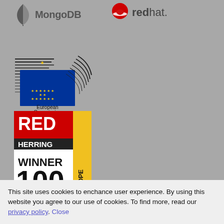[Figure (logo): MongoDB logo - leaf icon with MongoDB text]
[Figure (logo): Red Hat logo - red hat icon with redhat. text]
[Figure (logo): European Commission logo with EU flag stars and text]
[Figure (logo): Red Herring 100 Europe Winner badge]
[Figure (logo): Red Herring 100 Global Winner badge]
[Figure (logo): Orange handshake button]
This site uses cookies to enchance user experience. By using this website you agree to our use of cookies. To find more, read our privacy policy. Close